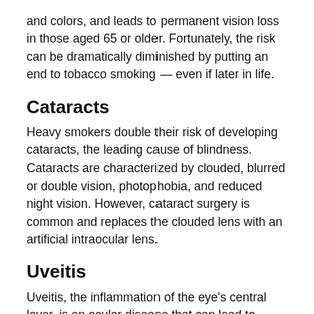and colors, and leads to permanent vision loss in those aged 65 or older. Fortunately, the risk can be dramatically diminished by putting an end to tobacco smoking — even if later in life.
Cataracts
Heavy smokers double their risk of developing cataracts, the leading cause of blindness. Cataracts are characterized by clouded, blurred or double vision, photophobia, and reduced night vision. However, cataract surgery is common and replaces the clouded lens with an artificial intraocular lens.
Uveitis
Uveitis, the inflammation of the eye's central layer, is an ocular disease that can lead to blindness. This